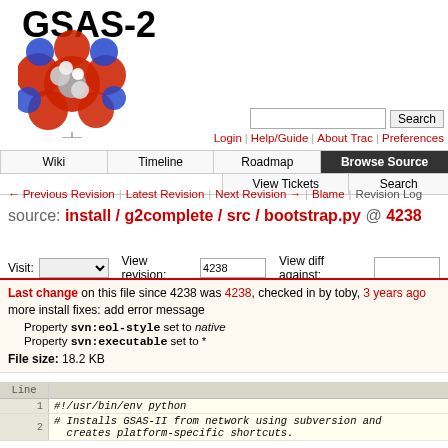GSAS-2
[Figure (illustration): 3D molecular structure ball model showing red, blue, white and grey spheres representing atoms]
Search (input field and button)
Login | Help/Guide | About Trac | Preferences
Wiki | Timeline | Roadmap | Browse Source | View Tickets | Search
← Previous Revision | Latest Revision | Next Revision → | Blame | Revision Log
source: install / g2complete / src / bootstrap.py @ 4238
Visit: [dropdown] View revision: 4238 View diff against: [input]
Last change on this file since 4238 was 4238, checked in by toby, 3 years ago
more install fixes: add error message
Property svn:eol-style set to native
Property svn:executable set to *
File size: 18.2 KB
| Line |  |
| --- | --- |
| 1 | #!/usr/bin/env python |
| 2 | # Installs GSAS-II from network using subversion and creates platform-specific shortcuts. |